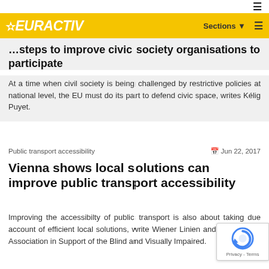EURACTIV — Sections ☰
…steps to improve civic society organisations to participate
At a time when civil society is being challenged by restrictive policies at national level, the EU must do its part to defend civic space, writes Kélig Puyet.
Public transport accessibility   Jun 22, 2017
Vienna shows local solutions can improve public transport accessibility
Improving the accessibilty of public transport is also about taking due account of efficient local solutions, write Wiener Linien and the Austrian Association in Support of the Blind and Visually Impaired.